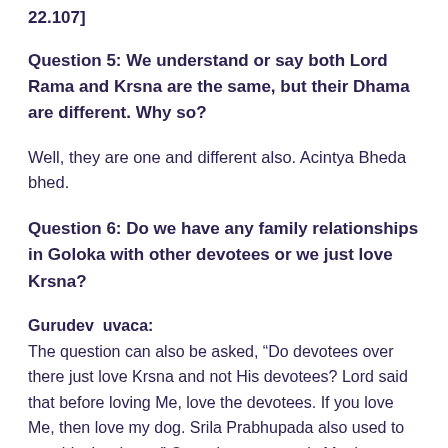22.107]
Question 5: We understand or say both Lord Rama and Krsna are the same, but their Dhama are different. Why so?
Well, they are one and different also. Acintya Bheda bhed.
Question 6: Do we have any family relationships in Goloka with other devotees or we just love Krsna?
Gurudev  uvaca:
The question can also be asked, “Do devotees over there just love Krsna and not His devotees? Lord said that before loving Me, love the devotees. If you love Me, then love my dog. Srila Prabhupada also used to say this. Lord says” One who says one is My devotee is not My devotee”. But one who claims to be a devotee of My